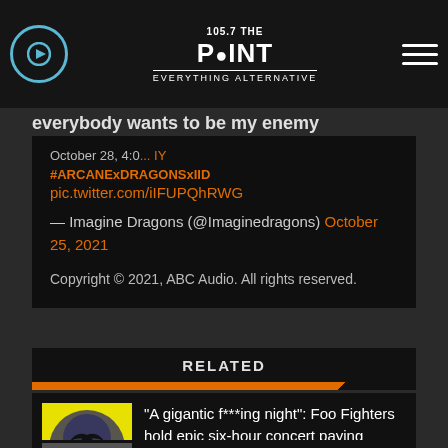105.7 The Point – Everything Alternative
everybody wants to be my enemy
October 28, 4:00 ... IY
#ARCANExDRAGONSxIID
pic.twitter.com/iIFUPQhRWG
— Imagine Dragons (@Imaginedragons) October 25, 2021
Copyright © 2021, ABC Audio. All rights reserved.
RELATED
"A gigantic f***ing night": Foo Fighters hold epic six-hour concert paying tribute to late Taylor...